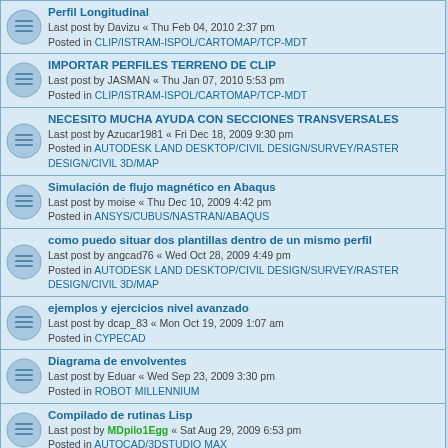Perfil Longitudinal
Last post by Davizu « Thu Feb 04, 2010 2:37 pm
Posted in CLIP/ISTRAM-ISPOL/CARTOMAP/TCP-MDT
IMPORTAR PERFILES TERRENO DE CLIP
Last post by JASMAN « Thu Jan 07, 2010 5:53 pm
Posted in CLIP/ISTRAM-ISPOL/CARTOMAP/TCP-MDT
NECESITO MUCHA AYUDA CON SECCIONES TRANSVERSALES
Last post by Azucar1981 « Fri Dec 18, 2009 9:30 pm
Posted in AUTODESK LAND DESKTOP/CIVIL DESIGN/SURVEY/RASTER DESIGN/CIVIL 3D/MAP
Simulación de flujo magnético en Abaqus
Last post by moise « Thu Dec 10, 2009 4:42 pm
Posted in ANSYS/CUBUS/NASTRAN/ABAQUS
como puedo situar dos plantillas dentro de un mismo perfil
Last post by angcad76 « Wed Oct 28, 2009 4:49 pm
Posted in AUTODESK LAND DESKTOP/CIVIL DESIGN/SURVEY/RASTER DESIGN/CIVIL 3D/MAP
ejemplos y ejercicios nivel avanzado
Last post by dcap_83 « Mon Oct 19, 2009 1:07 am
Posted in CYPECAD
Diagrama de envolventes
Last post by Eduar « Wed Sep 23, 2009 3:30 pm
Posted in ROBOT MILLENNIUM
Compilado de rutinas Lisp
Last post by MDpilo1Egg « Sat Aug 29, 2009 6:53 pm
Posted in AUTOCAD/3DSTUDIO MAX
Super Build / WRC
Last post by Gustavo « Mon Jun 08, 2009 10:43 pm
Posted in SAP2000/ETABS/SAFE/SECTION BUILDER/CSiCOOL